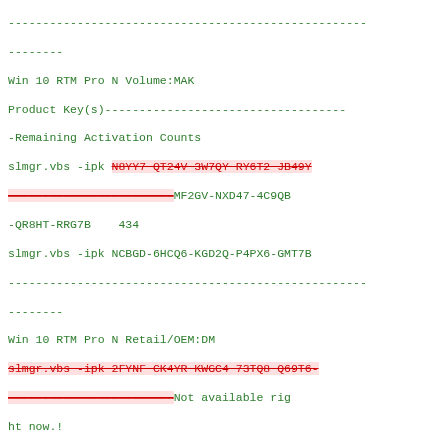Win 10 RTM Pro N Volume:MAK
Product Key(s)-----------------------------------
-Remaining Activation Counts
slmgr.vbs -ipk N8YY7-QT24V-3W7QY-RY6T2-JB49Y [strikethrough]
MF2GV-NXD47-4C9QB-QR8HT-RRG7B    434
slmgr.vbs -ipk NCBGD-6HCQ6-KGD2Q-P4PX6-GMT7B
----------------------------------------------------
--------
Win 10 RTM Pro N Retail/OEM:DM
slmgr.vbs -ipk 2ΓΥΝΓ-CK4YR-KWGC4-73TQ8-Q69T6- [strikethrough] Not available right now.!
----------------------------------------------------
--------
Win 10 RTM Enterprise Volume:MAK
Product Key(s)-----------------------------------
-Remaining Activation Counts--
slmgr.vbs -ipk BNJ87-JYH2B-DGXWM-JJVMR-Q9MPΓ- [strikethrough]
3HG2N-PG6D3-YJYWB-KXVVY-43KR4